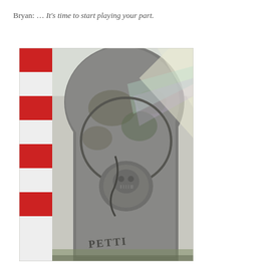Bryan: … It's time to start playing your part.
[Figure (photo): Photograph of an old weathered gravestone with carved decorative relief including a circular emblem and partial text reading 'PETTI...' at the bottom. A red and white striped pole or cone is visible to the left. Sunlight creates lens flare across the upper right of the stone.]